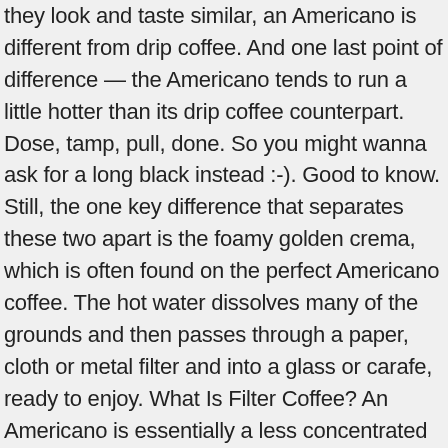they look and taste similar, an Americano is different from drip coffee. And one last point of difference — the Americano tends to run a little hotter than its drip coffee counterpart. Dose, tamp, pull, done. So you might wanna ask for a long black instead :-). Good to know. Still, the one key difference that separates these two apart is the foamy golden crema, which is often found on the perfect Americano coffee. The hot water dissolves many of the grounds and then passes through a paper, cloth or metal filter and into a glass or carafe, ready to enjoy. What Is Filter Coffee? An Americano is essentially a less concentrated version of an espresso. Join us for a live experiment as we taste test the difference between drip brew and americano brewing styles. A drip coffee retains the same concept, that is, water flowing through a bed of coffee into a vessel, but while an espresso pushes water through coffee grinds through pressure, a brewed filtered coffee allows gravity to let water percolate, or fall, into a vessel. /r/ Coffee is a place to discuss any and all things coffee. You can expect a very robust, intense cup of coffee with earthy and nutty tones when you have an espresso. The standard Americano is